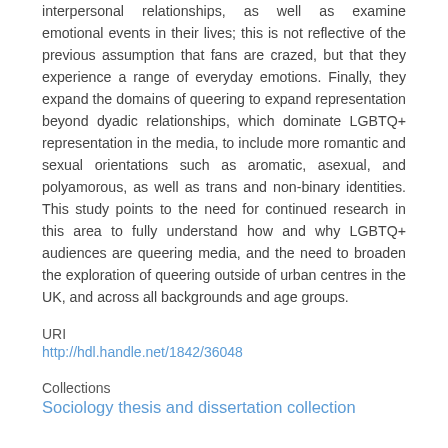interpersonal relationships, as well as examine emotional events in their lives; this is not reflective of the previous assumption that fans are crazed, but that they experience a range of everyday emotions. Finally, they expand the domains of queering to expand representation beyond dyadic relationships, which dominate LGBTQ+ representation in the media, to include more romantic and sexual orientations such as aromatic, asexual, and polyamorous, as well as trans and non-binary identities. This study points to the need for continued research in this area to fully understand how and why LGBTQ+ audiences are queering media, and the need to broaden the exploration of queering outside of urban centres in the UK, and across all backgrounds and age groups.
URI
http://hdl.handle.net/1842/36048
Collections
Sociology thesis and dissertation collection